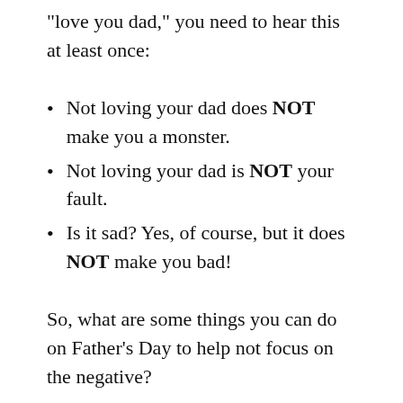“love you dad,” you need to hear this at least once:
Not loving your dad does NOT make you a monster.
Not loving your dad is NOT your fault.
Is it sad? Yes, of course, but it does NOT make you bad!
So, what are some things you can do on Father’s Day to help not focus on the negative?
Honor thyself. In the era of ceaseless social media, few of us manage to escape the seemingly inevitable barrage of tweets and posts about loving, devoted fathers — and